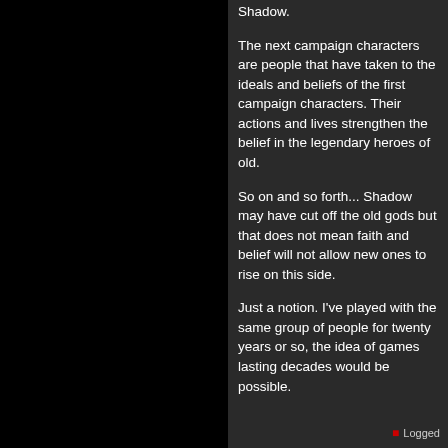Shadow.
The next campaign characters are people that have taken to the ideals and beliefs of the first campaign characters. Their actions and lives strengthen the belief in the legendary heroes of old.
So on and so forth... Shadow may have cut off the old gods but that does not mean faith and belief will not allow new ones to rise on this side.
Just a notion. I've played with the same group of people for twenty years or so, the idea of games lasting decades would be possible.
Logged